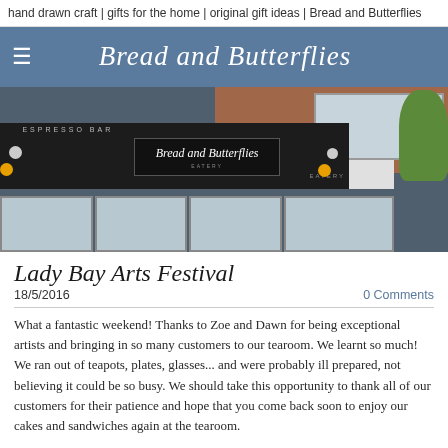hand drawn craft | gifts for the home | original gift ideas | Bread and Butterflies
Bread and Butterflies
[Figure (photo): Exterior storefront of Bread and Butterflies cafe/eatery showing ESPRESSO BAR sign, Bread and Butterflies signage, shop windows, balloons, and brick building behind]
Lady Bay Arts Festival
18/5/2016
0 Comments
What a fantastic weekend!  Thanks to Zoe and Dawn for being exceptional artists and bringing in so many customers to our tearoom.  We learnt so much!  We ran out of teapots, plates, glasses... and were probably ill prepared, not believing it could be so busy.  We should take this opportunity to thank all of our customers for their patience and hope that you come back soon to enjoy our cakes and sandwiches again at the tearoom.